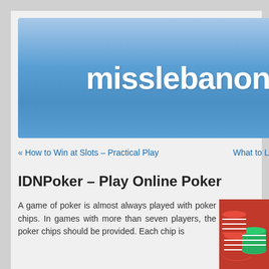misslebanon
« How to Win at Slots – Practical Play    What to L
IDNPoker – Play Online Poker
A game of poker is almost always played with poker chips. In games with more than seven players, the poker chips should be provided. Each chip is
[Figure (photo): Stack of red and green poker chips on a red background]